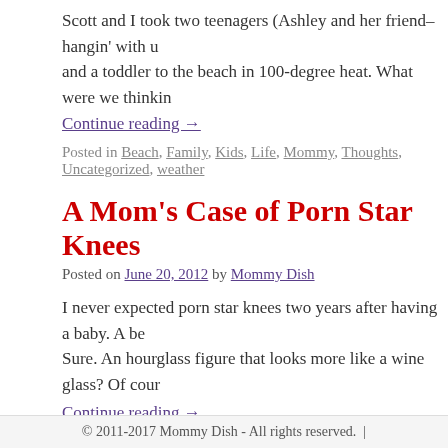Scott and I took two teenagers (Ashley and her friend–hangin' with u and a toddler to the beach in 100-degree heat. What were we thinkin
Continue reading →
Posted in Beach, Family, Kids, Life, Mommy, Thoughts, Uncategorized, weather
A Mom's Case of Porn Star Knees
Posted on June 20, 2012 by Mommy Dish
I never expected porn star knees two years after having a baby. A be Sure. An hourglass figure that looks more like a wine glass? Of cour
Continue reading →
Posted in Baby, Beach, Kids, Life, Mommy, Parents, Thoughts, Uncategorized
← Older posts
© 2011-2017 Mommy Dish - All rights reserved.